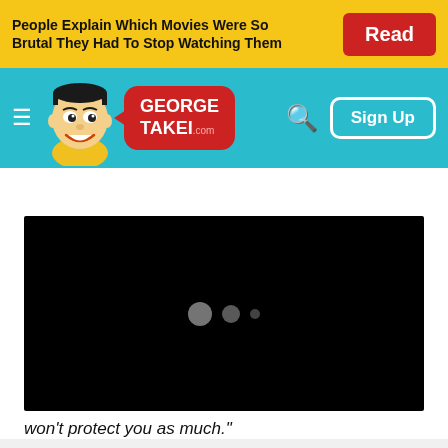[Figure (screenshot): Advertisement banner with yellow background. Text: 'People Explain Which Movies Were So Brutal They Had To Stop Watching Them' with a red 'Read' button on the right.]
[Figure (screenshot): George Takei .com website navigation bar with teal background, hamburger menu, mascot cartoon illustration, red speech bubble logo reading 'GEORGE TAKEI .com', search icon, and 'Sign Up' button.]
[Figure (screenshot): Black video player with loading indicator showing three dots of decreasing size.]
won't protect you as much."